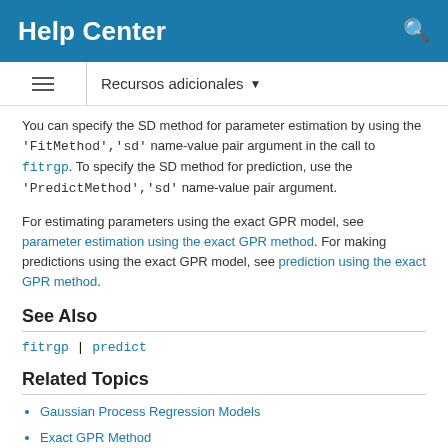Help Center
Recursos adicionales ▼
You can specify the SD method for parameter estimation by using the 'FitMethod','sd' name-value pair argument in the call to fitrgp. To specify the SD method for prediction, use the 'PredictMethod','sd' name-value pair argument.
For estimating parameters using the exact GPR model, see parameter estimation using the exact GPR method. For making predictions using the exact GPR model, see prediction using the exact GPR method.
See Also
fitrgp | predict
Related Topics
Gaussian Process Regression Models
Exact GPR Method
Subset of Regressors Approximation for GPR Models